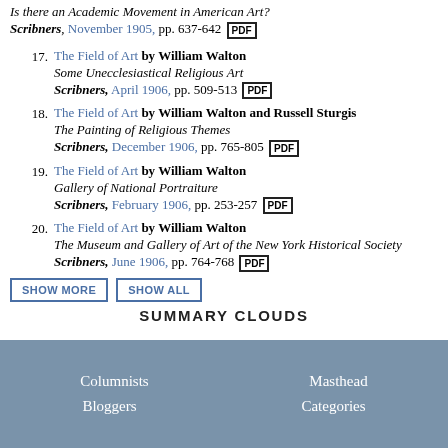Is there an Academic Movement in American Art? Scribners, November 1905, pp. 637-642 [PDF]
17. The Field of Art by William Walton
Some Unecclesiastical Religious Art
Scribners, April 1906, pp. 509-513 [PDF]
18. The Field of Art by William Walton and Russell Sturgis
The Painting of Religious Themes
Scribners, December 1906, pp. 765-805 [PDF]
19. The Field of Art by William Walton
Gallery of National Portraiture
Scribners, February 1906, pp. 253-257 [PDF]
20. The Field of Art by William Walton
The Museum and Gallery of Art of the New York Historical Society
Scribners, June 1906, pp. 764-768 [PDF]
SHOW MORE   SHOW ALL
SUMMARY CLOUDS
Columnists   Masthead   Bloggers   Categories